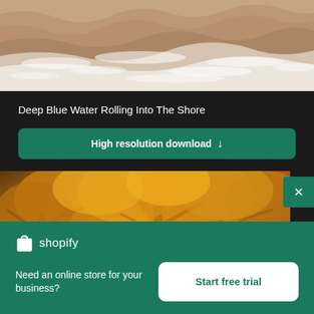[Figure (photo): Ocean waves with brownish-white churning water rolling into the shore, aerial/close-up view]
Deep Blue Water Rolling Into The Shore
High resolution download ↓
[Figure (photo): Autumn trees with dense golden-yellow and orange foliage, viewed from below looking up through the canopy]
[Figure (logo): Shopify logo with shopping bag icon and 'shopify' text in white]
Need an online store for your business?
Start free trial